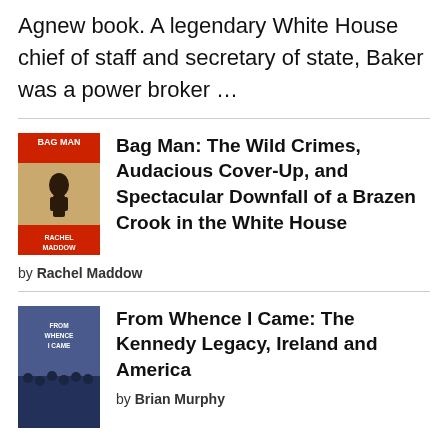Agnew book. A legendary White House chief of staff and secretary of state, Baker was a power broker …
[Figure (illustration): Book cover of 'Bag Man' by Rachel Maddow — red and cream cover with figure illustration]
Bag Man: The Wild Crimes, Audacious Cover-Up, and Spectacular Downfall of a Brazen Crook in the White House
by Rachel Maddow
[Figure (illustration): Book cover of 'From Whence I Came: The Kennedy Legacy, Ireland and America' by Brian Murphy — dark blue cover with crowd photo]
From Whence I Came: The Kennedy Legacy, Ireland and America
by Brian Murphy
This is a collection of original essays on the Kennedy legacy and the special political ties between Ireland and the United States. Contributors include the editors, both key figures behind the annual Kennedy Summer School, plus a stella...